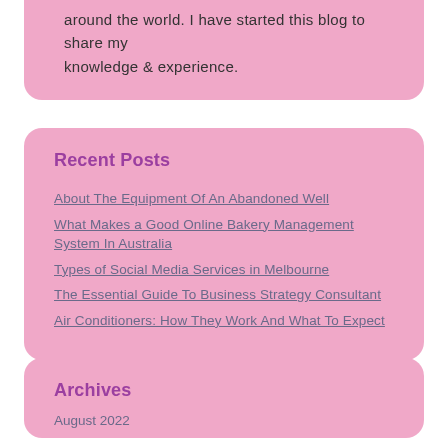around the world. I have started this blog to share my knowledge & experience.
Recent Posts
About The Equipment Of An Abandoned Well
What Makes a Good Online Bakery Management System In Australia
Types of Social Media Services in Melbourne
The Essential Guide To Business Strategy Consultant
Air Conditioners: How They Work And What To Expect
Archives
August 2022